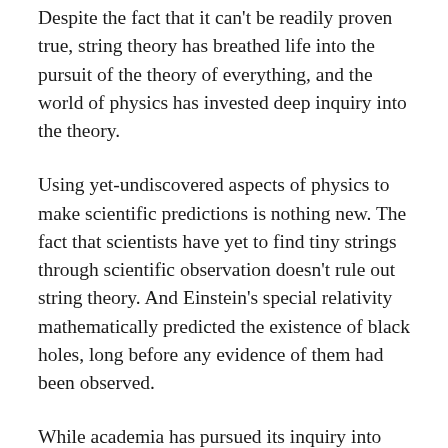Despite the fact that it can't be readily proven true, string theory has breathed life into the pursuit of the theory of everything, and the world of physics has invested deep inquiry into the theory.
Using yet-undiscovered aspects of physics to make scientific predictions is nothing new. The fact that scientists have yet to find tiny strings through scientific observation doesn't rule out string theory. And Einstein's special relativity mathematically predicted the existence of black holes, long before any evidence of them had been observed.
While academia has pursued its inquiry into the predictions of string theory, A. Garrett Lisi — a Ph.D. in physics — has lived in self-imposed exile from his field. He's spent his summers surfing in Hawaii and winters snowboarding in California. Perhaps while enjoying the snow and sea he